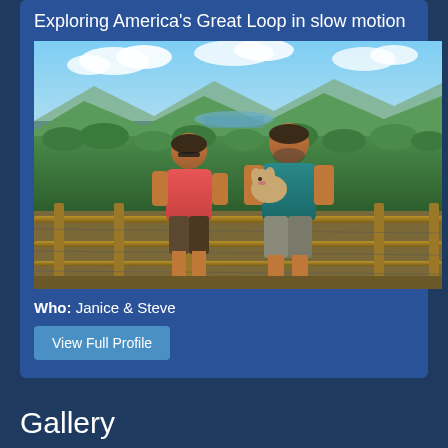Exploring America's Great Loop in slow motion
[Figure (photo): A couple standing at a scenic overlook with wooden railing, holding a small dog, with a panoramic view of forested mountains and a lake in the background under a blue sky with clouds.]
Who: Janice & Steve
View Full Profile
Gallery